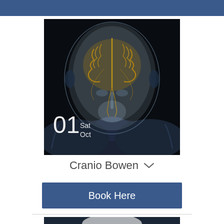[Figure (illustration): Medical illustration of a translucent human head/torso viewed from above, showing a glowing golden brain and neural pathways against a dark background. Date overlay shows '01 Sat Oct' in white text on the lower left of the image.]
Cranio Bowen
Book Here